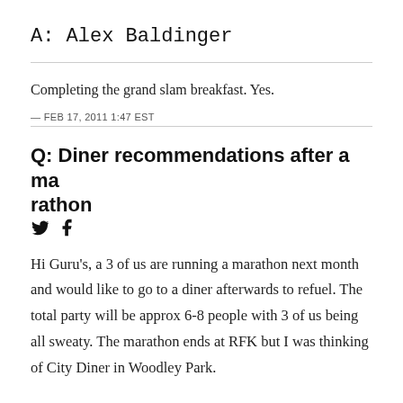A: Alex Baldinger
Completing the grand slam breakfast. Yes.
— FEB 17, 2011 1:47 EST
Q: Diner recommendations after a marathon
Hi Guru's, a 3 of us are running a marathon next month and would like to go to a diner afterwards to refuel. The total party will be approx 6-8 people with 3 of us being all sweaty. The marathon ends at RFK but I was thinking of City Diner in Woodley Park.